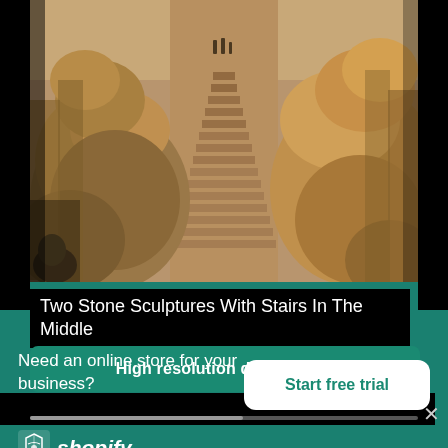[Figure (photo): Ancient temple stone sculptures (lion/elephant guardian statues) flanking a wide stone staircase leading upward. People visible at top of stairs. Warm brown stone tones.]
Two Stone Sculptures With Stairs In The Middle
High resolution download ↓
[Figure (logo): Shopify logo — shopping bag icon with 'shopify' text in white italic on teal/green background]
Need an online store for your business?
Start free trial